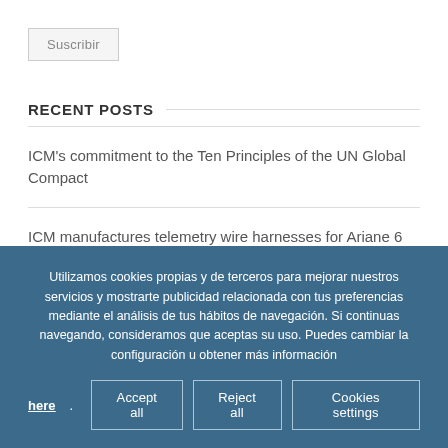Suscribir
RECENT POSTS
ICM's commitment to the Ten Principles of the UN Global Compact
ICM manufactures telemetry wire harnesses for Ariane 6
ICM has recycled 254.782 kg of paper and cardboard, since the
Utilizamos cookies propias y de terceros para mejorar nuestros servicios y mostrarte publicidad relacionada con tus preferencias mediante el análisis de tus hábitos de navegación. Si continuas navegando, consideramos que aceptas su uso. Puedes cambiar la configuración u obtener más información here. Accept all Reject all Cookies settings